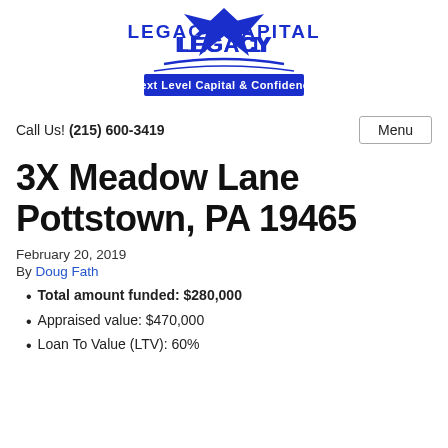[Figure (logo): Legacy Capital logo with eagle/bird graphic and blue banner reading 'Next Level Capital & Confidence']
Call Us! (215) 600-3419
3X Meadow Lane Pottstown, PA 19465
February 20, 2019
By Doug Fath
Total amount funded: $280,000
Appraised value: $470,000
Loan To Value (LTV): 60%